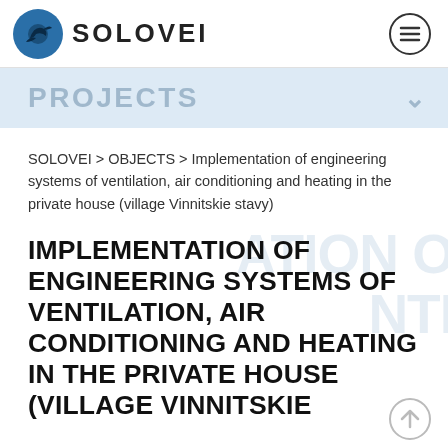SOLOVEI
PROJECTS
SOLOVEI > OBJECTS > Implementation of engineering systems of ventilation, air conditioning and heating in the private house (village Vinnitskie stavy)
IMPLEMENTATION OF ENGINEERING SYSTEMS OF VENTILATION, AIR CONDITIONING AND HEATING IN THE PRIVATE HOUSE (VILLAGE VINNITSKIE